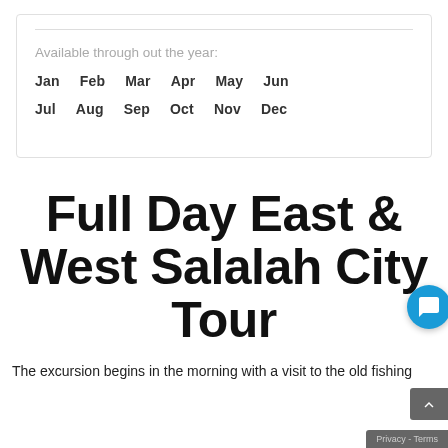Available through out the year:
Jan  Feb  Mar  Apr  May  Jun
Jul  Aug  Sep  Oct  Nov  Dec
Full Day East & West Salalah City Tour
The excursion begins in the morning with a visit to the old fishing...